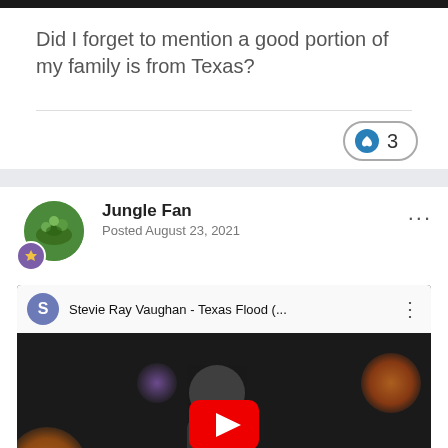Did I forget to mention a good portion of my family is from Texas?
[Figure (screenshot): YouTube video thumbnail for 'Stevie Ray Vaughan - Texas Flood (...)' embedded in a forum post by user 'Jungle Fan', posted August 23, 2021. Shows a dark concert photo with bokeh lights and a YouTube play button overlay.]
Jungle Fan
Posted August 23, 2021